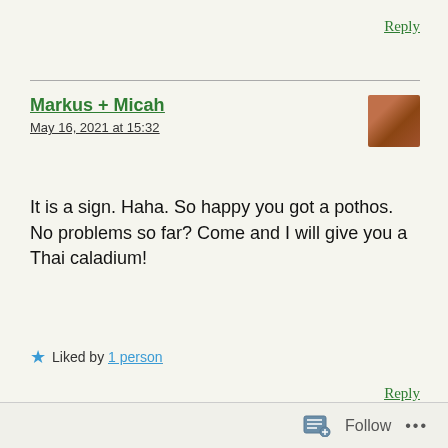Reply
Markus + Micah
May 16, 2021 at 15:32
[Figure (photo): Small avatar photo of a person in an orange/red shirt]
It is a sign. Haha. So happy you got a pothos. No problems so far? Come and I will give you a Thai caladium!
★ Liked by 1 person
Reply
Princess
[Figure (photo): Small circular avatar photo]
Follow ...